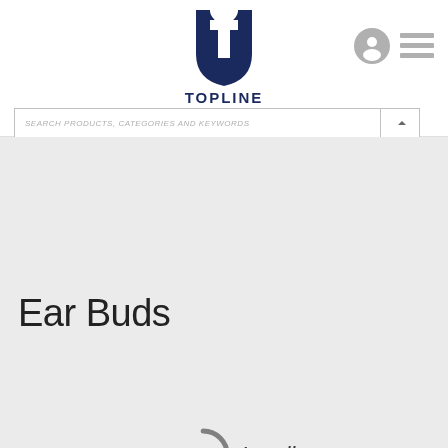[Figure (logo): Topline Promotions logo — dark navy T-shield icon above the text TOPLINE PROMOTIONS]
[Figure (screenshot): User account icon (grey circle with person silhouette) and hamburger menu icon (three grey horizontal lines)]
SEARCH PRODUCTS, CATEGORIES AND KEYWORDS
Ear Buds
[Figure (other): Loading spinner arc (partial grey circle) alongside italic text 'Loading...']